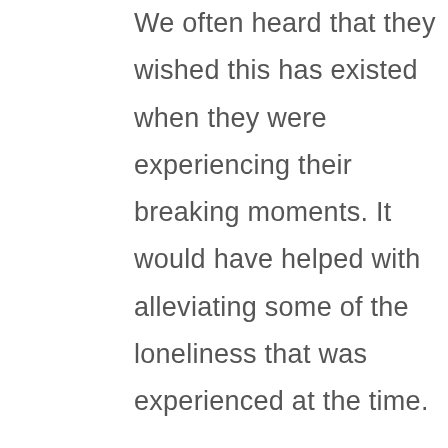We often heard that they wished this has existed when they were experiencing their breaking moments. It would have helped with alleviating some of the loneliness that was experienced at the time.

Jamie and I are driven and passionate about helping as many people as we can through this research and in